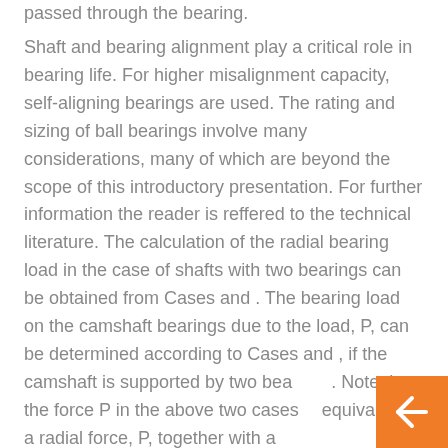passed through the bearing.
Shaft and bearing alignment play a critical role in bearing life. For higher misalignment capacity, self-aligning bearings are used. The rating and sizing of ball bearings involve many considerations, many of which are beyond the scope of this introductory presentation. For further information the reader is reffered to the technical literature. The calculation of the radial bearing load in the case of shafts with two bearings can be obtained from Cases and . The bearing load on the camshaft bearings due to the load, P, can be determined according to Cases and , if the camshaft is supported by two bearings. Note that the force P in the above two cases is equivalent to a radial force, P, together with a